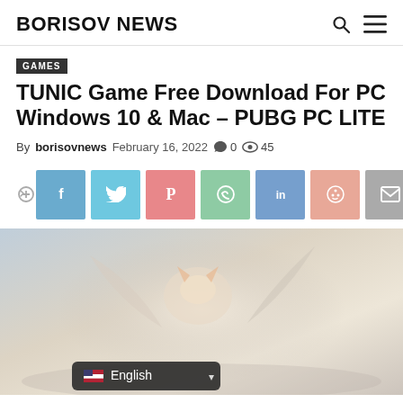BORISOV NEWS
GAMES
TUNIC Game Free Download For PC Windows 10 & Mac – PUBG PC LITE
By borisovnews  February 16, 2022  0  45
[Figure (screenshot): Social share buttons bar with Facebook, Twitter, Pinterest, WhatsApp, LinkedIn, Reddit, Email icons]
[Figure (photo): Hero image of TUNIC game featuring a fox character in a soft fantasy environment with English language selector overlay]